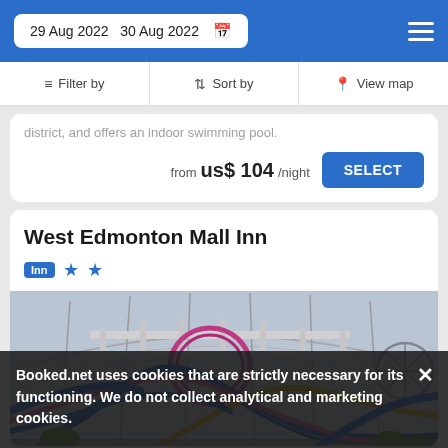29 Aug 2022   30 Aug 2022
Filter by   Sort by   View map
district, and offers an indoor swimming pool.
from us$ 104/night
West Edmonton Mall Inn
Inn ★★
[Figure (photo): Indoor amusement park with roller coasters, colorful slides (blue, yellow, pink), and a large glass-ceiling dome structure at West Edmonton Mall]
Booked.net uses cookies that are strictly necessary for its functioning. We do not collect analytical and marketing cookies.